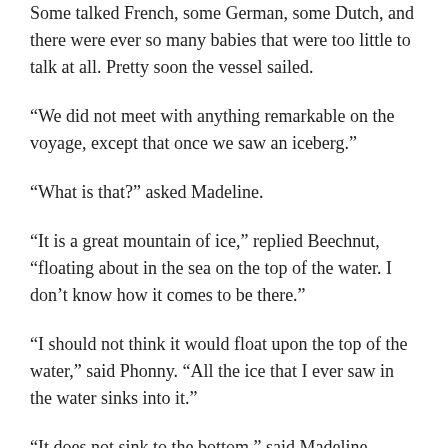Some talked French, some German, some Dutch, and there were ever so many babies that were too little to talk at all. Pretty soon the vessel sailed.
“We did not meet with anything remarkable on the voyage, except that once we saw an iceberg.”
“What is that?” asked Madeline.
“It is a great mountain of ice,” replied Beechnut, “floating about in the sea on the top of the water. I don’t know how it comes to be there.”
“I should not think it would float upon the top of the water,” said Phonny. “All the ice that I ever saw in the water sinks into it.”
“It does not sink to the bottom,” said Madeline.
“No,” replied Phonny, “but it sinks down until the top of the ice is